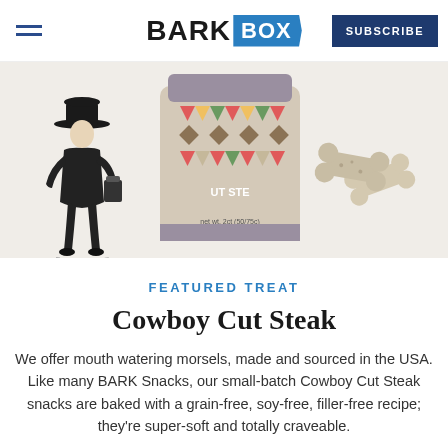BARK BOX | SUBSCRIBE
[Figure (photo): Product photo showing a bag of Cowboy Cut Steak dog treats with southwestern geometric pattern design, alongside bone-shaped dog biscuits, and a cowboy illustration on the left]
FEATURED TREAT
Cowboy Cut Steak
We offer mouth watering morsels, made and sourced in the USA. Like many BARK Snacks, our small-batch Cowboy Cut Steak snacks are baked with a grain-free, soy-free, filler-free recipe; they're super-soft and totally craveable.